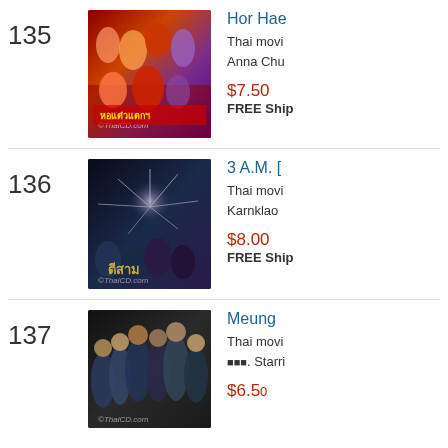135 - Hor Hae... Thai movie, Anna Chu... $7.50 FREE Shipping
136 - 3 A.M. [...] Thai movie, Karnklao... $8.00 FREE Shipping
137 - Meung... Thai movie. Starring... $6.50